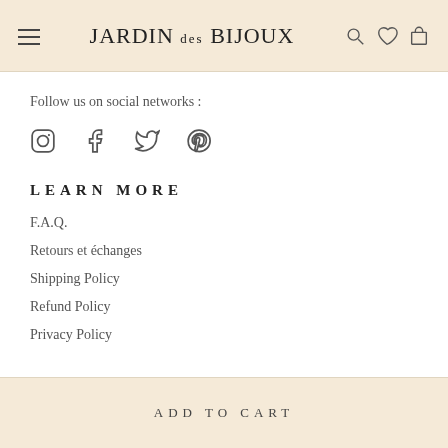Jardin des Bijoux
Follow us on social networks :
[Figure (other): Social media icons: Instagram, Facebook, Twitter, Pinterest]
LEARN MORE
F.A.Q.
Retours et échanges
Shipping Policy
Refund Policy
Privacy Policy
ADD TO CART